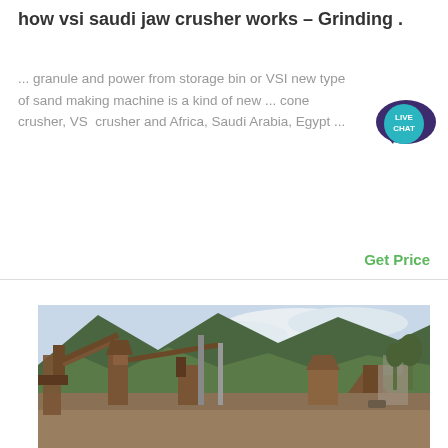how vsi saudi jaw crusher works – Grinding .
... granule and power from storage bin or VSI new type of sand making machine is a kind of new ... cone crusher, VSI crusher and Africa, Saudi Arabia, Egypt ...
Get Price
[Figure (photo): Outdoor photo of a large mining/crushing plant with conveyor belts and machinery set against a mountainous, forested backdrop with cloudy sky]